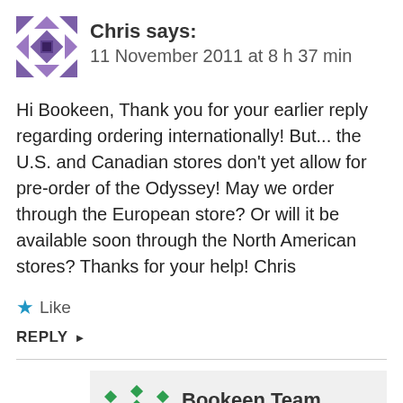[Figure (illustration): Purple quilt-pattern avatar icon for user Chris]
Chris says:
11 November 2011 at 8 h 37 min
Hi Bookeen, Thank you for your earlier reply regarding ordering internationally! But... the U.S. and Canadian stores don't yet allow for pre-order of the Odyssey! May we order through the European store? Or will it be available soon through the North American stores? Thanks for your help! Chris
★ Like
REPLY ▸
[Figure (illustration): Green diamond-pattern avatar icon for Bookeen Team]
Bookeen Team says:
29 November 2011 at 19 h 37 min
Hello Chris and Robs...